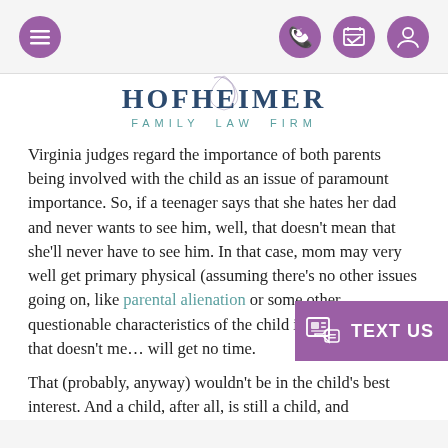Navigation bar with menu, phone, calendar, and profile icons
[Figure (logo): Hofheimer Family Law Firm logo with stylized H script and sans-serif text]
Virginia judges regard the importance of both parents being involved with the child as an issue of paramount importance. So, if a teenager says that she hates her dad and never wants to see him, well, that doesn't mean that she'll never have to see him. In that case, mom may very well get primary physical (assuming there's no other issues going on, like parental alienation or some other questionable characteristics of the child in question), but that doesn't me... will get no time.
That (probably, anyway) wouldn't be in the child's best interest. And a child, after all, is still a child, and...